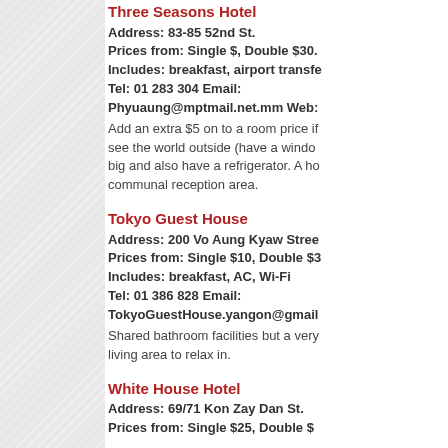Three Seasons Hotel
Address: 83-85 52nd St.
Prices from:  Single $, Double $30.
Includes: breakfast, airport transfe
Tel: 01 283 304 Email:
Phyuaung@mptmail.net.mm Web:
Add an extra $5 on to a room price if see the world outside (have a windo big and also have a refrigerator. A ho communal reception area.
Tokyo Guest House
Address: 200 Vo Aung Kyaw Stree
Prices from: Single $10, Double $3
Includes: breakfast, AC, Wi-Fi
Tel: 01 386 828 Email:
TokyoGuestHouse.yangon@gmail
Shared bathroom facilities but a very living area to relax in.
White House Hotel
Address: 69/71 Kon Zay Dan St.
Prices from:  Single $25, Double $